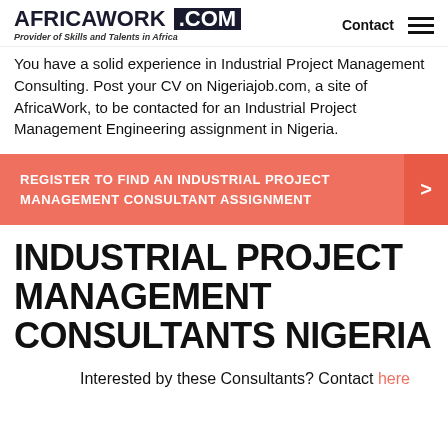AFRICAWORK .COM — Provider of Skills and Talents in Africa — Contact
You have a solid experience in Industrial Project Management Consulting. Post your CV on Nigeriajob.com, a site of AfricaWork, to be contacted for an Industrial Project Management Engineering assignment in Nigeria.
REGISTER TO FIND AN INDUSTRIAL PROJECT MANAGEMENT CONSULTANT ASSIGNMENT
INDUSTRIAL PROJECT MANAGEMENT CONSULTANTS NIGERIA
Interested by these Consultants? Contact here